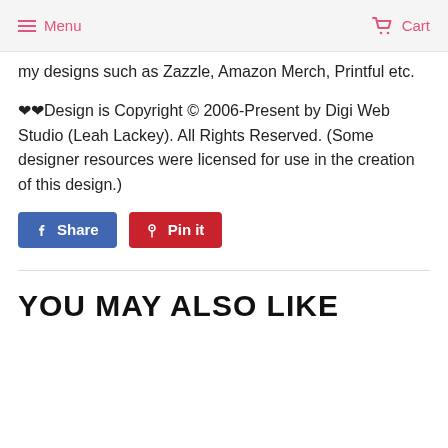Menu  Cart
my designs such as Zazzle, Amazon Merch, Printful etc.
❤❤Design is Copyright © 2006-Present by Digi Web Studio (Leah Lackey). All Rights Reserved. (Some designer resources were licensed for use in the creation of this design.)
[Figure (other): Share on Facebook and Pin it buttons]
YOU MAY ALSO LIKE